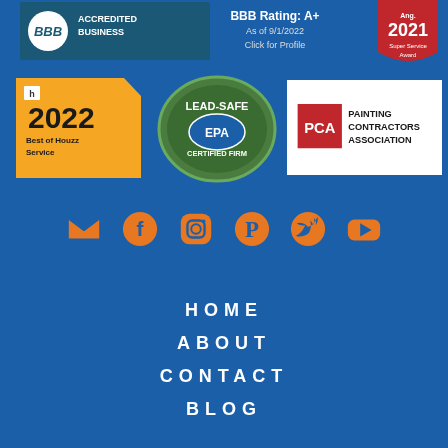[Figure (logo): BBB Accredited Business badge with teal/dark blue background]
[Figure (logo): BBB Rating: A+ as of 9/1/2022, Click for Profile]
[Figure (logo): Angi Super Service Award 2021 badge (red shield)]
[Figure (logo): Houzz 2022 Best of Houzz Service badge (yellow/orange)]
[Figure (logo): EPA Lead-Safe Certified Firm badge (green oval)]
[Figure (logo): PCA Painting Contractors Association badge]
[Figure (infographic): Social media icons row: email, Facebook, Instagram, Pinterest, Twitter, YouTube — all in orange]
HOME
ABOUT
CONTACT
BLOG